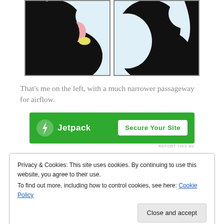[Figure (illustration): Two side-by-side illustrated panels showing close-up stylized bird/penguin heads with black and light blue coloring. Left panel has a pink and yellow beak area visible. Both panels are bordered with a thin gray border.]
That's me on the left, with a much narrower passageway for airflow.
[Figure (other): Jetpack advertisement banner with green background. Shows Jetpack logo (lightning bolt in circle) on left with brand name, and a 'Secure Your Site' button on right.]
REPORT THIS AD
Privacy & Cookies: This site uses cookies. By continuing to use this website, you agree to their use.
To find out more, including how to control cookies, see here: Cookie Policy
with my mom, who was convinced one of the cooks